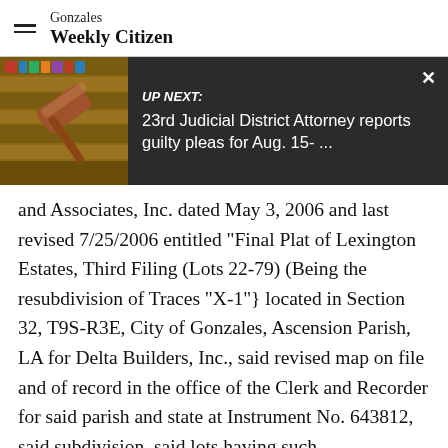Gonzales Weekly Citizen
[Figure (screenshot): UP NEXT banner with gavel image. Headline: 23rd Judicial District Attorney reports guilty pleas for Aug. 15- ...]
and Associates, Inc. dated May 3, 2006 and last revised 7/25/2006 entitled "Final Plat of Lexington Estates, Third Filing (Lots 22-79) (Being the resubdivision of Traces "X-1"} located in Section 32, T9S-R3E, City of Gonzales, Ascension Parish, LA for Delta Builders, Inc., said revised map on file and of record in the office of the Clerk and Recorder for said parish and state at Instrument No. 643812, said subdivision, said lots having such measurements and dimensions along such hearings and being subject to such servitudes, building lines, dedications, and